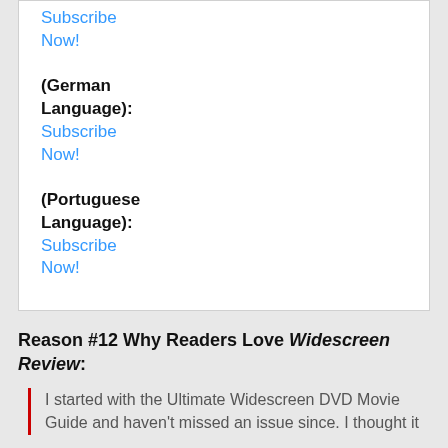Subscribe Now!
(German Language): Subscribe Now!
(Portuguese Language): Subscribe Now!
Reason #12 Why Readers Love Widescreen Review:
I started with the Ultimate Widescreen DVD Movie Guide and haven't missed an issue since. I thought it